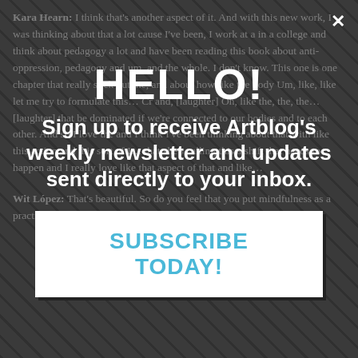Kara Hearn: I think that's another aspect of it. And with this new work, I was thinking about that a lot cause I've been, I work at a in a college and think about pedagogy a lot and have been reading this book about anti-oppression, pedagogy and um, and the whole, I don't know. This one is one chapter that really stuck out me, and about how like the body Um, like, like let me try to formulate this… And, [laughter] Oh, like the, the, the… [laughter] that be dominated if we're connected to our bodies and to each other. And so I love the and I think I've been thinking about that with like this action and this sort of I… that she's calling this a shift that needs to happen and I really love like that aspect of that and like…
[Figure (other): Modal popup overlay with dark houndstooth/chevron background showing a newsletter subscription call-to-action. Contains 'HELLO!' heading, descriptive text, and a SUBSCRIBE TODAY! button.]
HELLO!
Sign up to receive Artblog's weekly newsletter and updates sent directly to your inbox.
SUBSCRIBE TODAY!
Wit López: That's beautiful. So do you feel that you put mindfulness as a practice into what you're doing when you're making it?